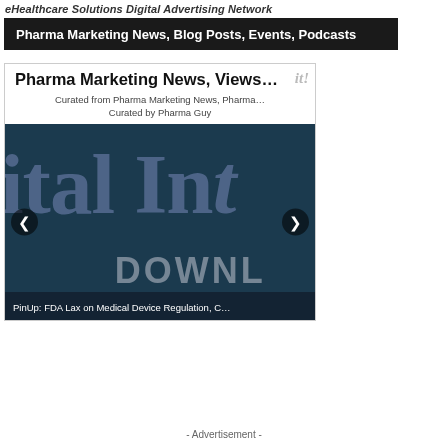eHealthcare Solutions Digital Advertising Network
Pharma Marketing News, Blog Posts, Events, Podcasts
Pharma Marketing News, Views...
Curated from Pharma Marketing News, Pharma...
Curated by Pharma Guy
[Figure (screenshot): Slideshow widget showing a dark teal/navy background with large stylized text 'ital Int' partially visible, navigation arrows on left and right, and 'DOWNL' text partially visible at bottom. Caption bar reads: PinUp: FDA Lax on Medical Device Regulation, C...]
PinUp: FDA Lax on Medical Device Regulation, C...
- Advertisement -